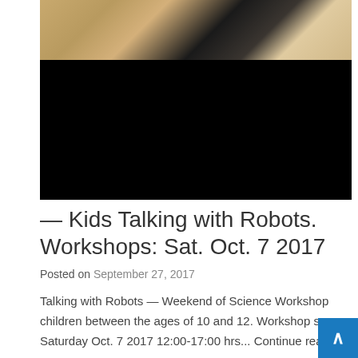[Figure (photo): Top portion of a robot head with beige/cream colored surface against a dark background, with a large black area below (likely a video player).]
— Kids Talking with Robots. Workshops: Sat. Oct. 7 2017
Posted on September 27, 2017
Talking with Robots — Weekend of Science Workshop children between the ages of 10 and 12. Workshop ses Saturday Oct. 7 2017 12:00-17:00 hrs... Continue reading →